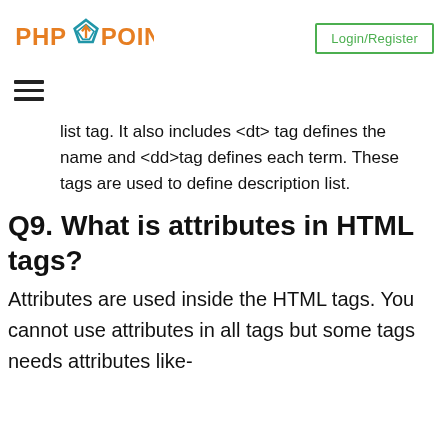PHPPOINT | Login/Register
list tag. It also includes <dt> tag defines the name and <dd>tag defines each term. These tags are used to define description list.
Q9. What is attributes in HTML tags?
Attributes are used inside the HTML tags. You cannot use attributes in all tags but some tags needs attributes like-